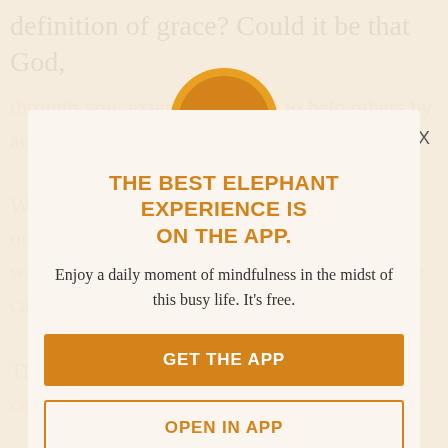definition of grace? Could it be that God,
through you, extends his grace to help others by acts of kindness?
When we help others, not only do we expand our own consciousness, but we also hand the whole world a spiritual house as well. Then we can all look out on global...
Through spirit and acts of altruism we feel connected to all life everywhere.
[Figure (logo): Orange circle with white elephant silhouette logo]
THE BEST ELEPHANT EXPERIENCE IS ON THE APP.
Enjoy a daily moment of mindfulness in the midst of this busy life. It's free.
GET THE APP
OPEN IN APP